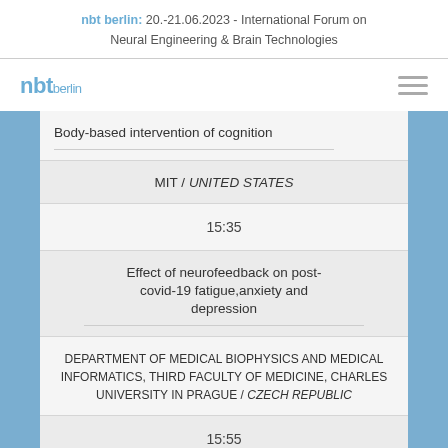nbt berlin: 20.-21.06.2023 - International Forum on Neural Engineering & Brain Technologies
[Figure (logo): nbt berlin logo text in blue with hamburger menu icon]
Body-based intervention of cognition
MIT / UNITED STATES
15:35
Effect of neurofeedback on post-covid-19 fatigue,anxiety and depression
DEPARTMENT OF MEDICAL BIOPHYSICS AND MEDICAL INFORMATICS, THIRD FACULTY OF MEDICINE, CHARLES UNIVERSITY IN PRAGUE / CZECH REPUBLIC
15:55